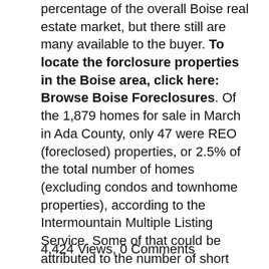percentage of the overall Boise real estate market, but there still are many available to the buyer. To locate the forclosure properties in the Boise area, click here: Browse Boise Foreclosures. Of the 1,879 homes for sale in March in Ada County, only 47 were REO (foreclosed) properties, or 2.5% of the total number of homes (excluding condos and townhome properties), according to the Intermountain Multiple Listing Service. Some of that could be attributed to the number of short sales, which typically takes longer than foreclosures. National real estate experts, though, warn of a possible uptick in the number of homes entering foreclosure in the...
4,424 Views, 0 Comments